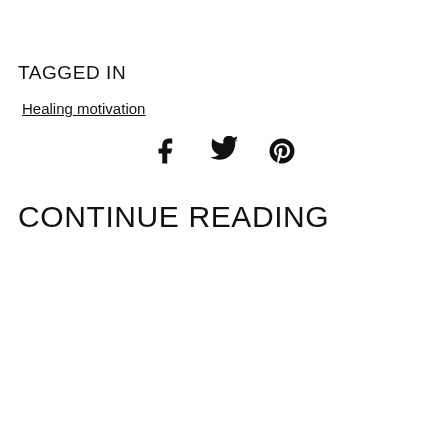TAGGED IN
Healing motivation
[Figure (other): Social sharing icons: Facebook, Twitter, Pinterest]
CONTINUE READING